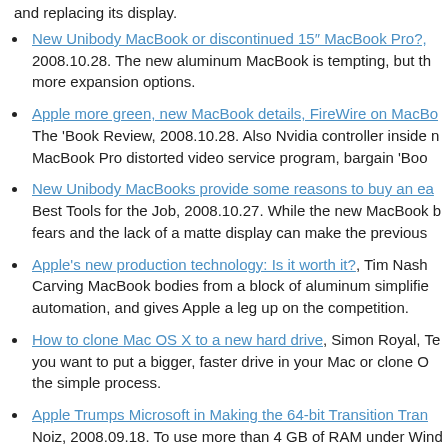and replacing its display.
New Unibody MacBook or discontinued 15″ MacBook Pro?, 2008.10.28. The new aluminum MacBook is tempting, but th… more expansion options.
Apple more green, new MacBook details, FireWire on MacBo… The 'Book Review, 2008.10.28. Also Nvidia controller inside n… MacBook Pro distorted video service program, bargain 'Boo…
New Unibody MacBooks provide some reasons to buy an ea… Best Tools for the Job, 2008.10.27. While the new MacBook b… fears and the lack of a matte display can make the previous…
Apple's new production technology: Is it worth it?, Tim Nash… Carving MacBook bodies from a block of aluminum simplifie… automation, and gives Apple a leg up on the competition.
How to clone Mac OS X to a new hard drive, Simon Royal, Te… you want to put a bigger, faster drive in your Mac or clone O… the simple process.
Apple Trumps Microsoft in Making the 64-bit Transition Tran… Noiz, 2008.09.18. To use more than 4 GB of RAM under Wind… 64-bit version of Windows. On the Mac, OS X 10.4 and later…
Does running OS X system maintenance routines really do a… Miscellaneous Ramblings, 2008.08.26. Mac OS X is designed… daily, weekly, and monthly – but can't if your Mac is off or a…